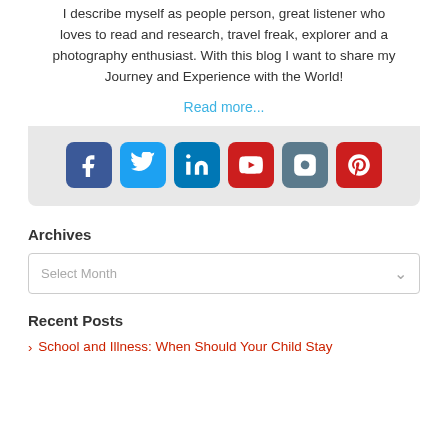I describe myself as people person, great listener who loves to read and research, travel freak, explorer and a photography enthusiast. With this blog I want to share my Journey and Experience with the World!
Read more...
[Figure (infographic): Social media icons: Facebook (blue), Twitter (light blue), LinkedIn (dark blue), YouTube (red), Instagram (grey-blue), Pinterest (red)]
Archives
Select Month
Recent Posts
> School and Illness: When Should Your Child Stay